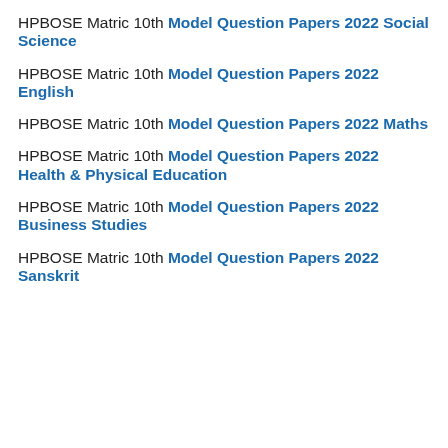HPBOSE Matric 10th Model Question Papers 2022 Social Science
HPBOSE Matric 10th Model Question Papers 2022 English
HPBOSE Matric 10th Model Question Papers 2022 Maths
HPBOSE Matric 10th Model Question Papers 2022 Health & Physical Education
HPBOSE Matric 10th Model Question Papers 2022 Business Studies
HPBOSE Matric 10th Model Question Papers 2022 Sanskrit